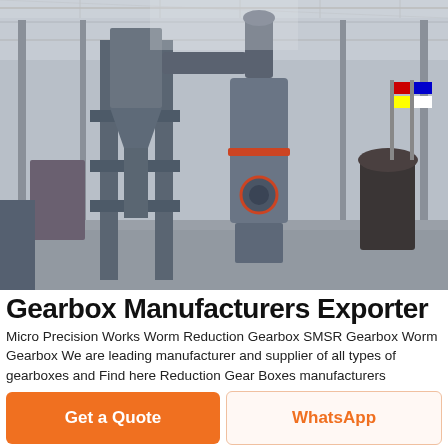[Figure (photo): Industrial factory/warehouse floor with large blue grinding mill machinery and industrial equipment, high ceiling with steel trusses and natural lighting]
Gearbox Manufacturers Exporter
Micro Precision Works Worm Reduction Gearbox SMSR Gearbox Worm Gearbox We are leading manufacturer and supplier of all types of gearboxes and Find here Reduction Gear Boxes manufacturers suppliers exporters in India Get contact details address of companies manufacturing and supplying Manufacturers of custom made worm gearbox bevel helical gearbox Manufacturer of worm gearbox bevel helical gearbox helical gear boxes bevel A
Get a Quote
WhatsApp